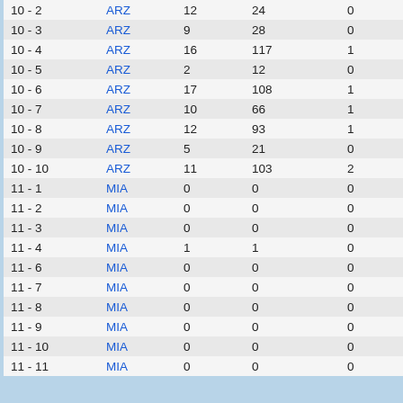| 10 - 2 | ARZ | 12 | 24 | 0 | 0 | 0 |
| 10 - 3 | ARZ | 9 | 28 | 0 | 0 | 0 |
| 10 - 4 | ARZ | 16 | 117 | 1 | 0 | 0 |
| 10 - 5 | ARZ | 2 | 12 | 0 | 0 | 0 |
| 10 - 6 | ARZ | 17 | 108 | 1 | 2 | 1 |
| 10 - 7 | ARZ | 10 | 66 | 1 | 0 | 0 |
| 10 - 8 | ARZ | 12 | 93 | 1 | 0 | 0 |
| 10 - 9 | ARZ | 5 | 21 | 0 | 1 | 9 |
| 10 - 10 | ARZ | 11 | 103 | 2 | 2 | 15 |
| 11 - 1 | MIA | 0 | 0 | 0 | 0 | 0 |
| 11 - 2 | MIA | 0 | 0 | 0 | 0 | 0 |
| 11 - 3 | MIA | 0 | 0 | 0 | 0 | 0 |
| 11 - 4 | MIA | 1 | 1 | 0 | 0 | 0 |
| 11 - 6 | MIA | 0 | 0 | 0 | 0 | 0 |
| 11 - 7 | MIA | 0 | 0 | 0 | 0 | 0 |
| 11 - 8 | MIA | 0 | 0 | 0 | 0 | 0 |
| 11 - 9 | MIA | 0 | 0 | 0 | 0 | 0 |
| 11 - 10 | MIA | 0 | 0 | 0 | 0 | 0 |
| 11 - 11 | MIA | 0 | 0 | 0 | 0 | 0 |